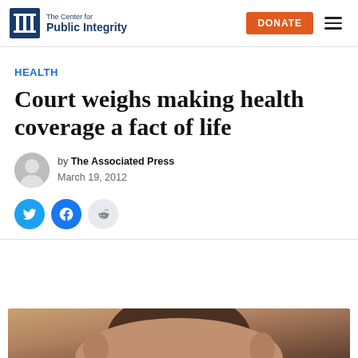The Center for Public Integrity | DONATE
HEALTH
Court weighs making health coverage a fact of life
by The Associated Press
March 19, 2012
[Figure (photo): Photo of a person, cropped to show top of head and ears, partial view at bottom of page]